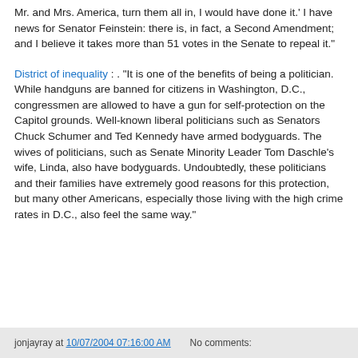Mr. and Mrs. America, turn them all in, I would have done it.' I have news for Senator Feinstein: there is, in fact, a Second Amendment; and I believe it takes more than 51 votes in the Senate to repeal it."
District of inequality : . "It is one of the benefits of being a politician. While handguns are banned for citizens in Washington, D.C., congressmen are allowed to have a gun for self-protection on the Capitol grounds. Well-known liberal politicians such as Senators Chuck Schumer and Ted Kennedy have armed bodyguards. The wives of politicians, such as Senate Minority Leader Tom Daschle's wife, Linda, also have bodyguards. Undoubtedly, these politicians and their families have extremely good reasons for this protection, but many other Americans, especially those living with the high crime rates in D.C., also feel the same way."
jonjayray at 10/07/2004 07:16:00 AM    No comments: